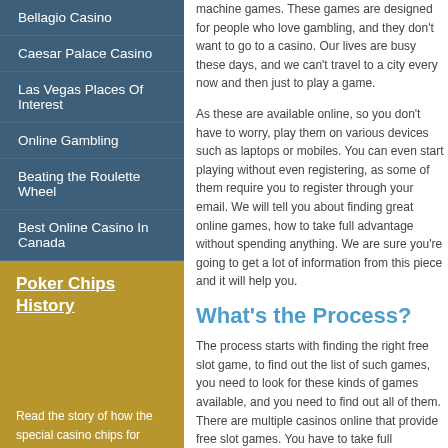Bellagio Casino
Caesar Palace Casino
Las Vegas Places Of Interest
Online Gambling
Beating the Roulette Wheel
Best Online Casino In Canada
Poker Chips History
Read the story of how the special casino chips for poker game developed; it is believed they had appeared in 1800s first... Many casinos online use them for playing this card game
machine games. These games are designed for people who love gambling, and they don't want to go to a casino. Our lives are busy these days, and we can't travel to a city every now and then just to play a game.
As these are available online, so you don't have to worry, play them on various devices such as laptops or mobiles. You can even start playing without even registering, as some of them require you to register through your email. We will tell you about finding great online games, how to take full advantage without spending anything. We are sure you're going to get a lot of information from this piece and it will help you.
What's the Process?
The process starts with finding the right free slot game, to find out the list of such games, you need to look for these kinds of games available, and you need to find out all of them. There are multiple casinos online that provide free slot games. You have to take full advantage of such games, looking for certain characteristics instead of playing anything and which is the best one. There are different features, and you will have to find them in different games, so
Types of Slots